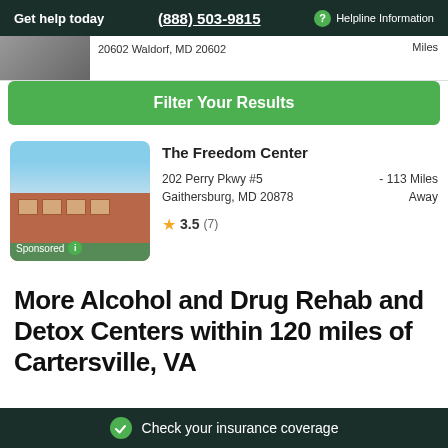Get help today  (888) 503-9815  Helpline Information
20602 Waldorf, MD 20602  Miles
Filter Your Results
[Figure (photo): Photo of The Freedom Center building exterior, a brick commercial building with shrubs]
The Freedom Center
202 Perry Pkwy #5
Gaithersburg, MD 20878
- 113 Miles Away
3.5 (7)
More Alcohol and Drug Rehab and Detox Centers within 120 miles of Cartersville, VA
Check your insurance coverage